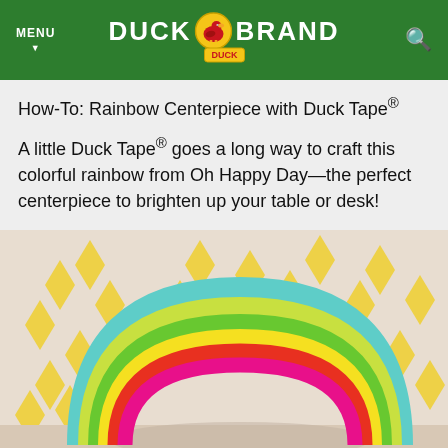MENU | DUCK BRAND | Search
How-To: Rainbow Centerpiece with Duck Tape®
A little Duck Tape® goes a long way to craft this colorful rainbow from Oh Happy Day—the perfect centerpiece to brighten up your table or desk!
[Figure (photo): A colorful rainbow made from Duck Tape in multiple colors (teal, yellow, green, red, pink/magenta) sitting on a light surface with yellow leaf-patterned wallpaper in the background.]